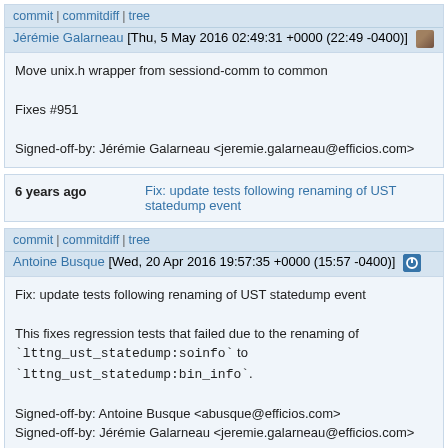commit | commitdiff | tree
Jérémie Galarneau [Thu, 5 May 2016 02:49:31 +0000 (22:49 -0400)]
Move unix.h wrapper from sessiond-comm to common

Fixes #951

Signed-off-by: Jérémie Galarneau <jeremie.galarneau@efficios.com>
6 years ago
Fix: update tests following renaming of UST statedump event
commit | commitdiff | tree
Antoine Busque [Wed, 20 Apr 2016 19:57:35 +0000 (15:57 -0400)]
Fix: update tests following renaming of UST statedump event

This fixes regression tests that failed due to the renaming of `lttng_ust_statedump:soinfo` to `lttng_ust_statedump:bin_info`.

Signed-off-by: Antoine Busque <abusque@efficios.com>
Signed-off-by: Jérémie Galarneau <jeremie.galarneau@efficios.com>
6 years ago
Typo: catched -> caught